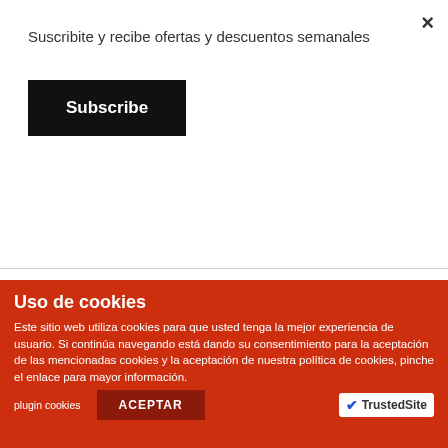Suscribite y recibe ofertas y descuentos semanales
Subscribe
8K – 48MP
45 – MPH
$1,495.00
BUY
FAQ
Uso de cookies
Este sitio web utiliza cookies para que usted tenga la mejor experiencia de usuario. Si continúa navegando está dando su consentimiento para la aceptación de las mencionadas cookies y la aceptación de nuestra política de cookies, pinche el enlace para mayor información.
plugin cookies
ACEPTAR
TrustedSite